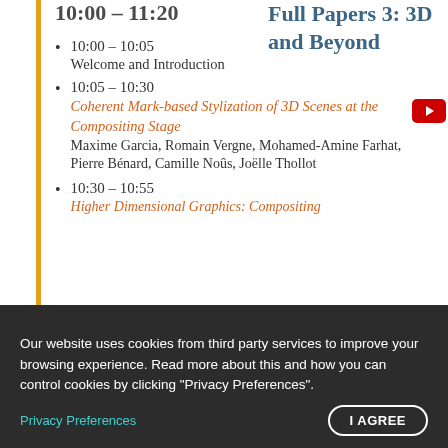10:00 – 11:20
Full Papers 3: 3D and Beyond
10:00 – 10:05
Welcome and Introduction
10:05 – 10:30
Coherent Mark-based Stylization of 3D Scenes at the Compositing Stage
Maxime Garcia, Romain Vergne, Mohamed-Amine Farhat, Pierre Bénard, Camille Noûs, Joëlle Thollot
10:30 – 10:55
Higher Dimensional Graphics: Compositing...
Our website uses cookies from third party services to improve your browsing experience. Read more about this and how you can control cookies by clicking "Privacy Preferences".
Privacy Preferences | I AGREE